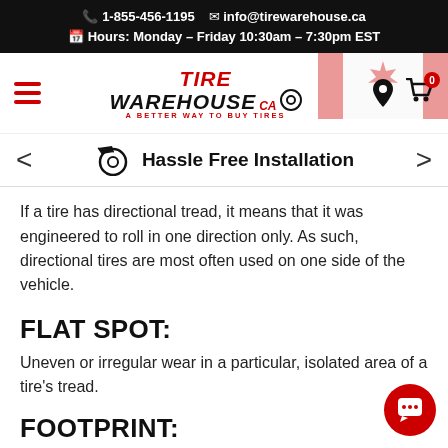☎ 1-855-456-1195  ✉ info@tirewarehouse.ca  🗓 Hours: Monday – Friday 10:30am – 7:30pm EST
[Figure (logo): Tire Warehouse CA logo with hamburger menu, location pin, and shopping cart with 0 badge, Canadian flag in background]
[Figure (infographic): Slider bar with left arrow, tire/speed icon, text 'Hassle Free Installation', and right arrow]
If a tire has directional tread, it means that it was engineered to roll in one direction only. As such, directional tires are most often used on one side of the vehicle.
FLAT SPOT:
Uneven or irregular wear in a particular, isolated area of a tire's tread.
FOOTPRINT: